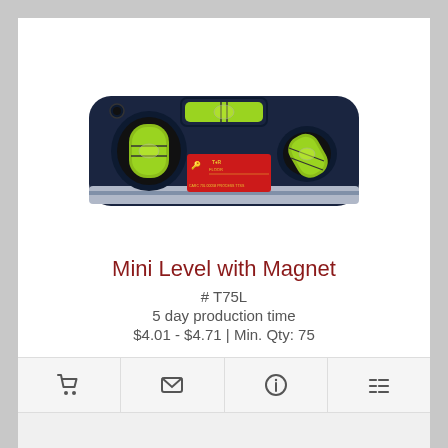[Figure (photo): Mini Level with Magnet tool — a rectangular spirit level with dark navy/black body, two green cylindrical vials on the left side (one vertical, one at angle), a horizontal green tube vial in the center top, one angled vial on the right, a red product label in the center, and a silver magnetic strip on the bottom.]
Mini Level with Magnet
# T75L
5 day production time
$4.01 - $4.71 | Min. Qty: 75